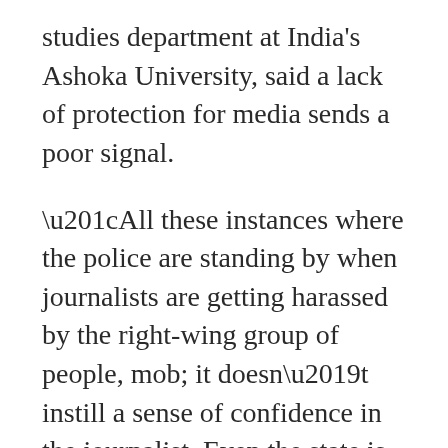studies department at India's Ashoka University, said a lack of protection for media sends a poor signal.
“All these instances where the police are standing by when journalists are getting harassed by the right-wing group of people, mob; it doesn’t instill a sense of confidence in the journalist. Even the state is not interested in them to do their job honestly, so it is an intimidation tactic,” Mirchandani told VOA during a phone call.